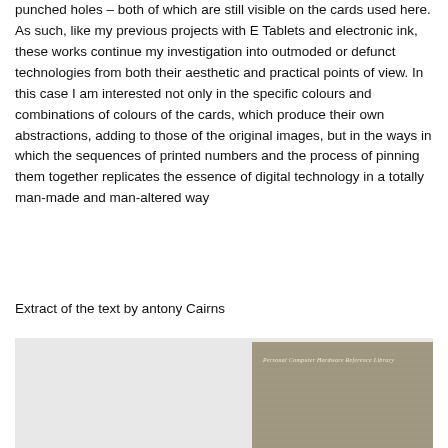punched holes – both of which are still visible on the cards used here. As such, like my previous projects with E Tablets and electronic ink, these works continue my investigation into outmoded or defunct technologies from both their aesthetic and practical points of view. In this case I am interested not only in the specific colours and combinations of colours of the cards, which produce their own abstractions, adding to those of the original images, but in the ways in which the sequences of printed numbers and the process of pinning them together replicates the essence of digital technology in a totally man-made and man-altered way
Extract of the text by antony Cairns
[Figure (photo): A photograph showing what appears to be a grey/beige book cover or card with 'Personal Computer Hardware Reference Library' printed in italic text, placed against a light grey background.]